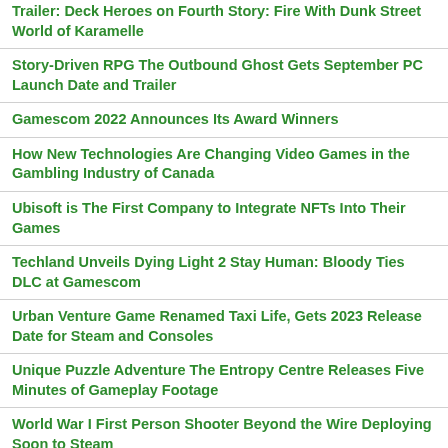Trailer: Deck Heroes on Fourth Story: Fire With Dunk Street World of Karamelle
Story-Driven RPG The Outbound Ghost Gets September PC Launch Date and Trailer
Gamescom 2022 Announces Its Award Winners
How New Technologies Are Changing Video Games in the Gambling Industry of Canada
Ubisoft is The First Company to Integrate NFTs Into Their Games
Techland Unveils Dying Light 2 Stay Human: Bloody Ties DLC at Gamescom
Urban Venture Game Renamed Taxi Life, Gets 2023 Release Date for Steam and Consoles
Unique Puzzle Adventure The Entropy Centre Releases Five Minutes of Gameplay Footage
World War I First Person Shooter Beyond the Wire Deploying Soon to Steam
Dying Light 2 to Reveal New Story-based DLC at Gamescom 2022
Construction Simulator's Multiplayer Mode Allows for Crew Building Entertainment
Goal Goal The Club Manager Gamescom Nomination Sign...